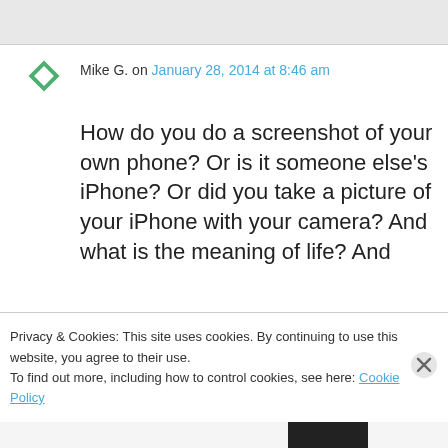[Figure (other): Gray top bar / header area of a webpage]
Mike G. on January 28, 2014 at 8:46 am
How do you do a screenshot of your own phone? Or is it someone else's iPhone? Or did you take a picture of your iPhone with your camera? And what is the meaning of life? And
Privacy & Cookies: This site uses cookies. By continuing to use this website, you agree to their use.
To find out more, including how to control cookies, see here: Cookie Policy
Close and accept